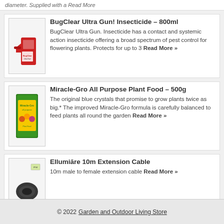diameter. Supplied with a Read More
BugClear Ultra Gun! Insecticide – 800ml
BugClear Ultra Gun. Insecticide has a contact and systemic action insecticide offering a broad spectrum of pest control for flowering plants. Protects for up to 3 Read More »
Miracle-Gro All Purpose Plant Food – 500g
The original blue crystals that promise to grow plants twice as big.* The improved Miracle-Gro formula is carefully balanced to feed plants all round the garden Read More »
Ellumière 10m Extension Cable
10m male to female extension cable Read More »
© 2022 Garden and Outdoor Living Store